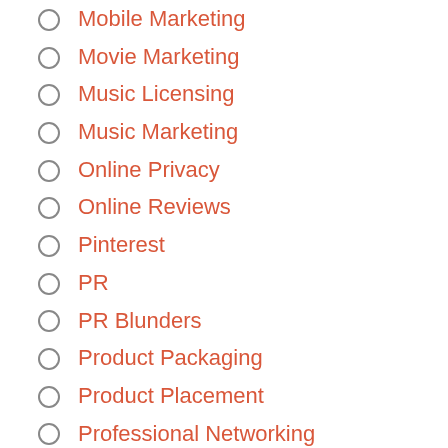Mobile Marketing
Movie Marketing
Music Licensing
Music Marketing
Online Privacy
Online Reviews
Pinterest
PR
PR Blunders
Product Packaging
Product Placement
Professional Networking
Public Relations
SEO
small business